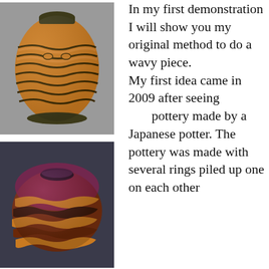[Figure (photo): A decorative turned wood vase with wavy carved ridges, orange-amber coloring with dark greenish accents at the rim and base, photographed against a gray background.]
In my first demonstration I will show you my original method to do a wavy piece.
My first idea came in 2009 after seeing pottery made by a Japanese potter. The pottery was made with several rings piled up one on each other
[Figure (photo): A turned wood vessel with wavy alternating rings in reddish-brown and amber coloring, showing the layered Japanese pottery-inspired technique, photographed against a dark background.]